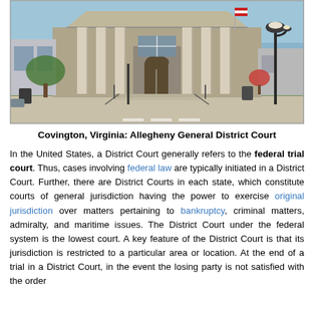[Figure (photo): Photograph of the Covington, Virginia: Allegheny General District Court building, a stone courthouse with large classical columns and ornate entrance, American flag visible, street lamp in foreground right.]
Covington, Virginia: Allegheny General District Court
In the United States, a District Court generally refers to the federal trial court. Thus, cases involving federal law are typically initiated in a District Court. Further, there are District Courts in each state, which constitute courts of general jurisdiction having the power to exercise original jurisdiction over matters pertaining to bankruptcy, criminal matters, admiralty, and maritime issues. The District Court under the federal system is the lowest court. A key feature of the District Court is that its jurisdiction is restricted to a particular area or location. At the end of a trial in a District Court, in the event the losing party is not satisfied with the order